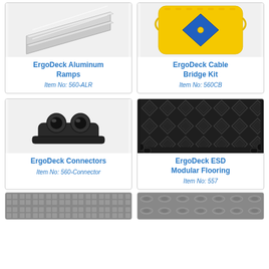[Figure (photo): ErgoDeck Aluminum Ramps product photo showing silver/metallic aluminum ramp pieces]
ErgoDeck Aluminum Ramps
Item No: 560-ALR
[Figure (photo): ErgoDeck Cable Bridge Kit product photo showing yellow and blue cable bridge]
ErgoDeck Cable Bridge Kit
Item No: 560CB
[Figure (photo): ErgoDeck Connectors product photo showing black plastic connector piece]
ErgoDeck Connectors
Item No: 560-Connector
[Figure (photo): ErgoDeck ESD Modular Flooring product photo showing black textured modular floor tiles]
ErgoDeck ESD Modular Flooring
Item No: 557
[Figure (photo): Bottom left product photo showing gray textured modular flooring tiles]
[Figure (photo): Bottom right product photo showing gray smooth modular flooring tiles]